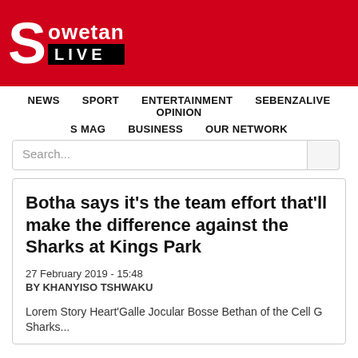[Figure (logo): Sowetan LIVE logo — white letter S on red background, with 'owetan' text and 'LIVE' in black box]
NEWS  SPORT  ENTERTAINMENT  SEBENZALIVE  OPINION  S MAG  BUSINESS  OUR NETWORK
Search...
Botha says it's the team effort that'll make the difference against the Sharks at Kings Park
27 February 2019 - 15:48
BY KHANYISO TSHWAKU
Lorem Story Heart'Galle Jocular Bosse Bethan of the Cell G Sharks...